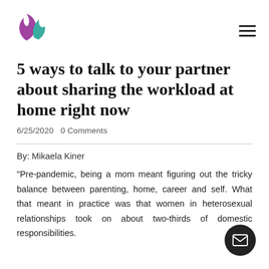[Figure (logo): Colorful leaf/flame logo with purple and teal leaves]
5 ways to talk to your partner about sharing the workload at home right now
6/25/2020   0 Comments
By: Mikaela Kiner
"Pre-pandemic, being a mom meant figuring out the tricky balance between parenting, home, career and self. What that meant in practice was that women in heterosexual relationships took on about two-thirds of domestic responsibilities.